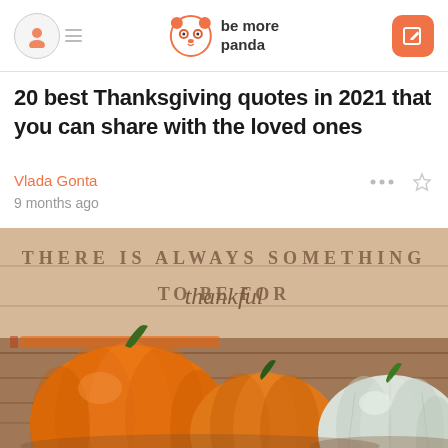be more panda
20 best Thanksgiving quotes in 2021 that you can share with the loved ones
Vlada Gonta
9 months ago
[Figure (photo): Thanksgiving themed photo with pumpkins and text 'THERE IS ALWAYS SOMETHING TO BE thankful FOR' on a wooden background]